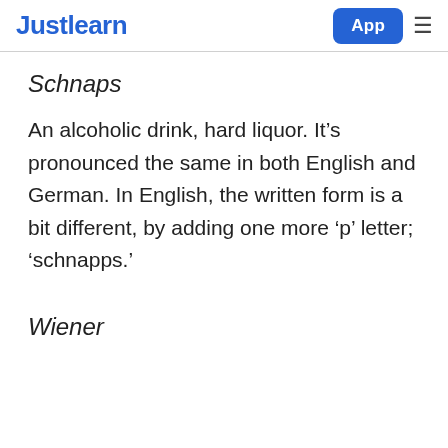Justlearn  App  ≡
Schnaps
An alcoholic drink, hard liquor. It's pronounced the same in both English and German. In English, the written form is a bit different, by adding one more 'p' letter; 'schnapps.'
Wiener